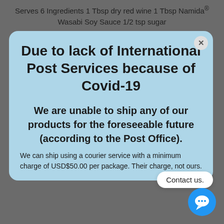Serves 6 Ingredients 1 Tbsp dry red wine 1 Tbsp Namida® Wasabi Soy Sauce 1/2 tsp sugar
Due to lack of International Post Services because of Covid-19
We are unable to ship any of our products for the foreseeable future (according to the Post Office).
We can ship using a courier service with a minimum charge of USD$50.00 per package. Their charge, not ours.